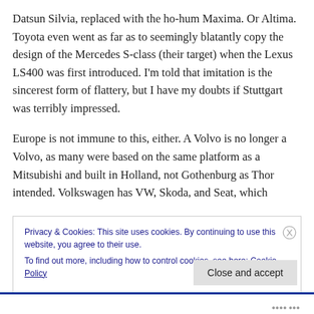Datsun Silvia, replaced with the ho-hum Maxima. Or Altima. Toyota even went as far as to seemingly blatantly copy the design of the Mercedes S-class (their target) when the Lexus LS400 was first introduced. I'm told that imitation is the sincerest form of flattery, but I have my doubts if Stuttgart was terribly impressed.
Europe is not immune to this, either. A Volvo is no longer a Volvo, as many were based on the same platform as a Mitsubishi and built in Holland, not Gothenburg as Thor intended. Volkswagen has VW, Skoda, and Seat, which
Privacy & Cookies: This site uses cookies. By continuing to use this website, you agree to their use.
To find out more, including how to control cookies, see here: Cookie Policy
Close and accept